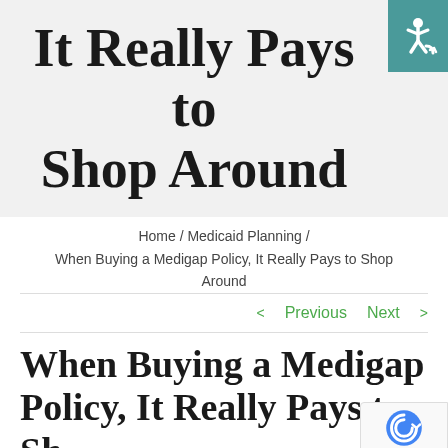It Really Pays to Shop Around
Home / Medicaid Planning / When Buying a Medigap Policy, It Really Pays to Shop Around
< Previous   Next >
When Buying a Medigap Policy, It Really Pays to Shop Around